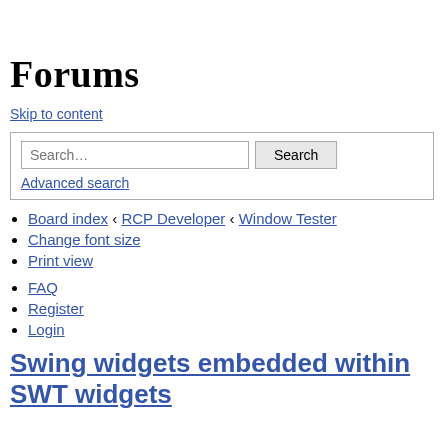Forums
Skip to content
[Figure (other): Search box with text input placeholder 'Search…', a Search button, and an Advanced search link]
Board index ‹ RCP Developer ‹ Window Tester
Change font size
Print view
FAQ
Register
Login
Swing widgets embedded within SWT widgets